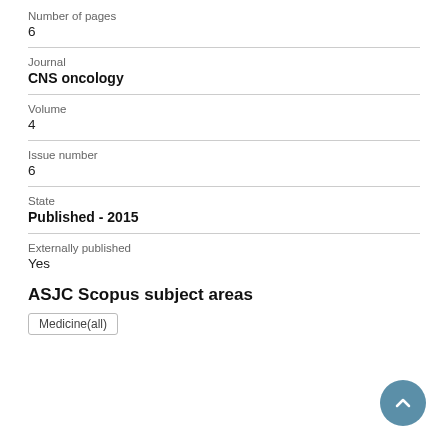Number of pages
6
Journal
CNS oncology
Volume
4
Issue number
6
State
Published - 2015
Externally published
Yes
ASJC Scopus subject areas
Medicine(all)